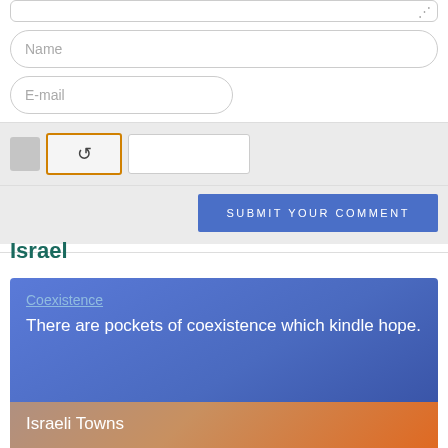[Figure (screenshot): Web form with textarea (partially visible at top), Name input field, E-mail input field, CAPTCHA row with gray box, refresh button with orange border, and text input, followed by a Submit Your Comment button on gray background.]
Israel
[Figure (screenshot): Blue gradient card with 'Coexistence' link and text 'There are pockets of coexistence which kindle hope.' Below it a brown/orange gradient card beginning with 'Israeli Towns']